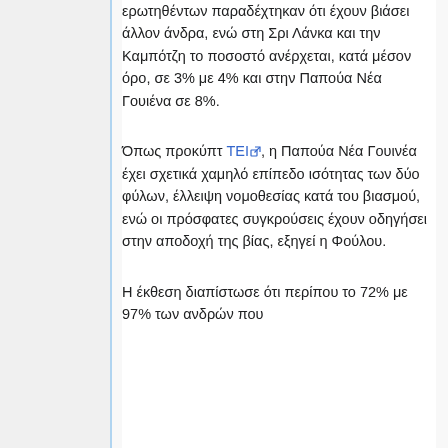ερωτηθέντων παραδέχτηκαν ότι έχουν βιάσει άλλον άνδρα, ενώ στη Σρι Λάνκα και την Καμπότζη το ποσοστό ανέρχεται, κατά μέσον όρο, σε 3% με 4% και στην Παπούα Νέα Γουιένα σε 8%.
Όπως προκύπτ ΤΕΙ, η Παπούα Νέα Γουινέα έχει σχετικά χαμηλό επίπεδο ισότητας των δύο φύλων, έλλειψη νομοθεσίας κατά του βιασμού, ενώ οι πρόσφατες συγκρούσεις έχουν οδηγήσει στην αποδοχή της βίας, εξηγεί η Φούλου.
Η έκθεση διαπίστωσε ότι περίπου το 72% με 97% των ανδρών που